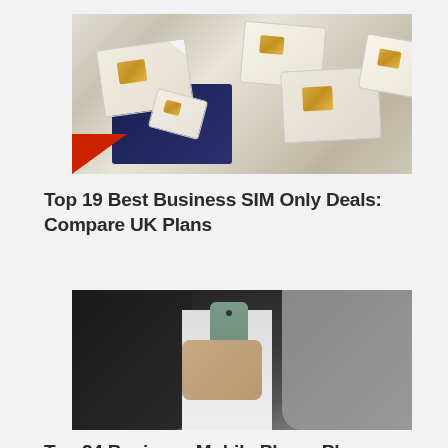[Figure (photo): Multiple SIM cards of various sizes fanned out on a surface]
Top 19 Best Business SIM Only Deals: Compare UK Plans
[Figure (photo): Person in a business suit holding a smartphone]
Top 24 Business Mobile Phone Plans: